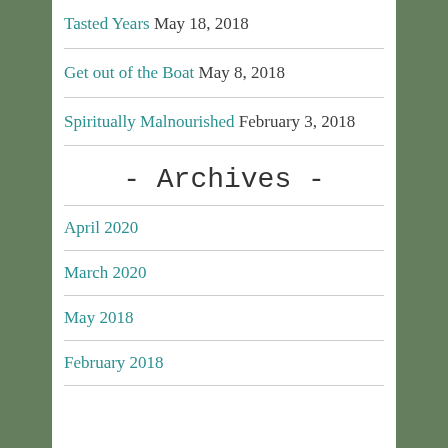Tasted Years May 18, 2018
Get out of the Boat May 8, 2018
Spiritually Malnourished February 3, 2018
- Archives -
April 2020
March 2020
May 2018
February 2018